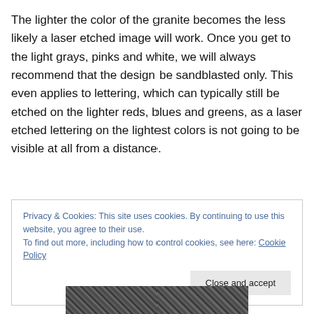The lighter the color of the granite becomes the less likely a laser etched image will work. Once you get to the light grays, pinks and white, we will always recommend that the design be sandblasted only. This even applies to lettering, which can typically still be etched on the lighter reds, blues and greens, as a laser etched lettering on the lightest colors is not going to be visible at all from a distance.
Privacy & Cookies: This site uses cookies. By continuing to use this website, you agree to their use. To find out more, including how to control cookies, see here: Cookie Policy
[Figure (photo): Partial view of a grainy black and white textured image at the bottom of the page, partially obscured by the cookie banner.]